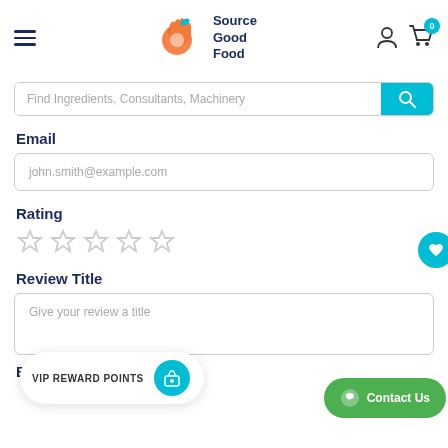[Figure (logo): Source Good Food logo with orange hand OK symbol and teal leaf, text: Source Good Food]
Find Ingredients, Consultants, Machinery
Email
john.smith@example.com
Rating
[Figure (other): Five empty star rating icons]
Review Title
Give your review a title
VIP REWARD POINTS
Body of Review (1500)